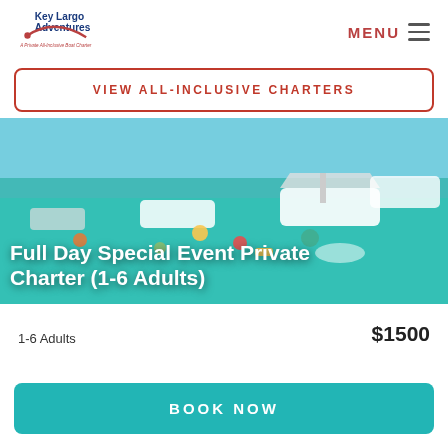[Figure (logo): Key Largo Adventures logo with swoosh and tagline 'A Private All-Inclusive Boat Charter']
MENU
VIEW ALL-INCLUSIVE CHARTERS
[Figure (photo): Aerial photo of boats, people swimming and floating in turquoise water at a sandbar party]
Full Day Special Event Private Charter (1-6 Adults)
1-6 Adults
$1500
BOOK NOW